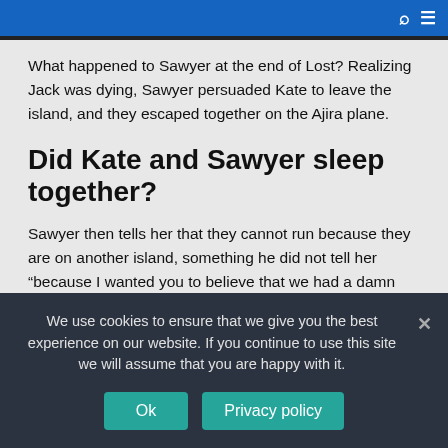Search | Menu
What happened to Sawyer at the end of Lost? Realizing Jack was dying, Sawyer persuaded Kate to leave the island, and they escaped together on the Ajira plane.
Did Kate and Sawyer sleep together?
Sawyer then tells her that they cannot run because they are on another island, something he did not tell her “because I wanted you to believe that we had a damn chance.” Kate and Sawyer then have sex, unknowingly in full view of the cameras.
What were John Locke’s major achievements?
We use cookies to ensure that we give you the best experience on our website. If you continue to use this site we will assume that you are happy with it.